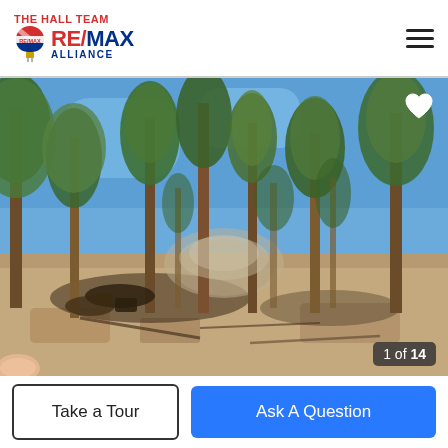THE HALL TEAM RE/MAX ALLIANCE
[Figure (photo): Outdoor photo of a forested area with tall pine trees, blue sky, and bare sandy ground with some fallen branches and debris. A rocky formation is visible in the background among the trees.]
1 of 14
Take a Tour
Ask A Question